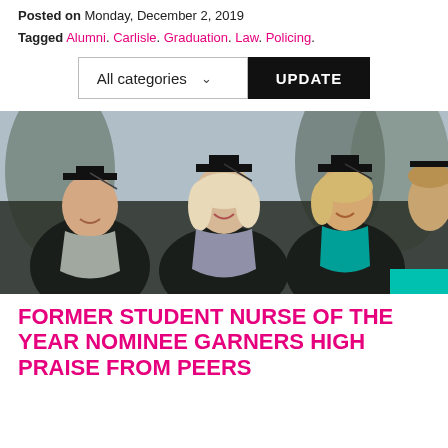Posted on Monday, December 2, 2019
Tagged Alumni. Carlisle. Graduation. Law. Policing.
[Figure (other): Dropdown filter showing 'All categories' with a chevron, and an 'UPDATE' button in black]
[Figure (photo): Graduation photo showing several women in black academic gowns and mortarboard caps, smiling, seated at a graduation ceremony]
FORMER STUDENT NURSE OF THE YEAR NOMINEE GARNERS HIGH PRAISE FROM PEERS